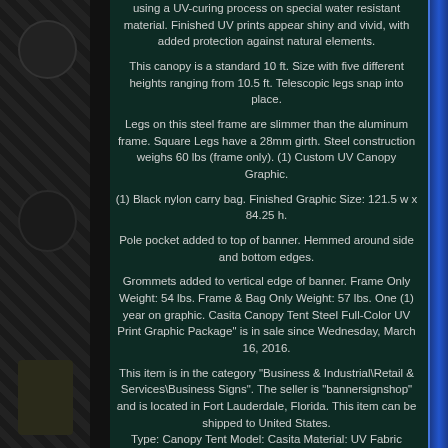using a UV-curing process on special water resistant material. Finished UV prints appear shiny and vivid, with added protection against natural elements.
This canopy is a standard 10 ft. Size with five different heights ranging from 10.5 ft. Telescopic legs snap into place.
Legs on this steel frame are slimmer than the aluminum frame. Square Legs have a 28mm girth. Steel construction weighs 60 lbs (frame only). (1) Custom UV Canopy Graphic.
(1) Black nylon carry bag. Finished Graphic Size: 121.5 w x 84.25 h.
Pole pocket added to top of banner. Hemmed around side and bottom edges.
Grommets added to vertical edge of banner. Frame Only Weight: 54 lbs. Frame & Bag Only Weight: 57 lbs. One (1) year on graphic. Casita Canopy Tent Steel Full-Color UV Print Graphic Package" is in sale since Wednesday, March 16, 2016.
This item is in the category "Business & Industrial\Retail & Services\Business Signs". The seller is "bannersignshop" and is located in Fort Lauderdale, Florida. This item can be shipped to United States. Type: Canopy Tent Model: Casita Material: UV Fabric Color: Full Color Dimensions: 10' x 10' Country/Region of Manufacture: US